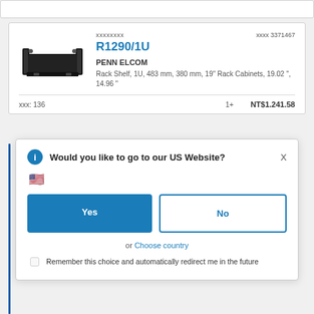[Figure (photo): Product image of a rack shelf tray (black metal, slide-out style)]
xxxxxxxx
xxxx 3371467
R1290/1U
PENN ELCOM
Rack Shelf, 1U, 483 mm, 380 mm, 19" Rack Cabinets, 19.02 ", 14.96 "
xxx: 136
1+
NT$1.241.58
Would you like to go to our US Website?
X
Yes
No
or Choose country
Remember this choice and automatically redirect me in the future